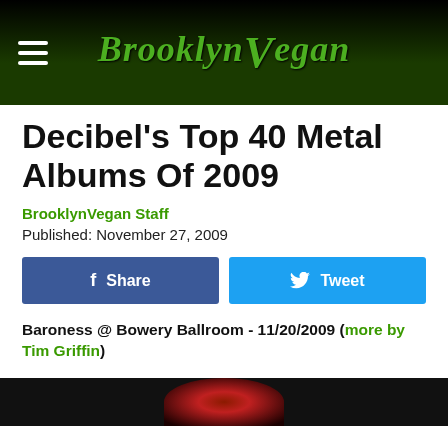BrooklynVegan
Decibel's Top 40 Metal Albums Of 2009
BrooklynVegan Staff
Published: November 27, 2009
[Figure (other): Share and Tweet social media buttons]
Baroness @ Bowery Ballroom - 11/20/2009 (more by Tim Griffin)
[Figure (photo): Bottom portion of a concert photo, dark with reddish tones]